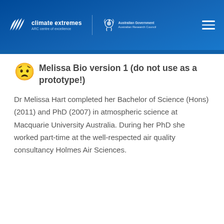climate extremes | ARC centre of excellence | Australian Government Australian Research Council
😟 Melissa Bio version 1 (do not use as a prototype!)
Dr Melissa Hart completed her Bachelor of Science (Hons) (2011) and PhD (2007) in atmospheric science at Macquarie University Australia. During her PhD she worked part-time at the well-respected air quality consultancy Holmes Air Sciences.